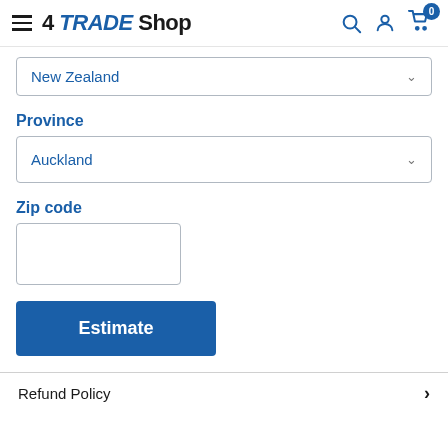4 TRADE Shop
New Zealand
Province
Auckland
Zip code
Estimate
Refund Policy